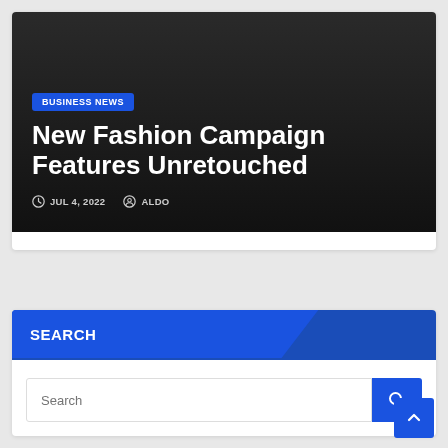[Figure (screenshot): Hero card with dark gradient background showing a blog post preview. Contains a blue 'BUSINESS NEWS' badge, headline 'New Fashion Campaign Features Unretouched', and metadata showing date JUL 4, 2022 and author ALDO.]
New Fashion Campaign Features Unretouched
JUL 4, 2022   ALDO
SEARCH